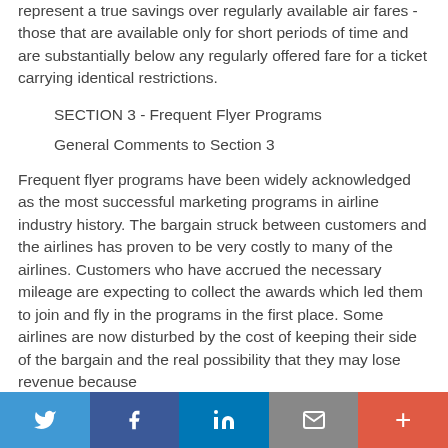represent a true savings over regularly available air fares - those that are available only for short periods of time and are substantially below any regularly offered fare for a ticket carrying identical restrictions.
SECTION 3 - Frequent Flyer Programs
General Comments to Section 3
Frequent flyer programs have been widely acknowledged as the most successful marketing programs in airline industry history. The bargain struck between customers and the airlines has proven to be very costly to many of the airlines. Customers who have accrued the necessary mileage are expecting to collect the awards which led them to join and fly in the programs in the first place. Some airlines are now disturbed by the cost of keeping their side of the bargain and the real possibility that they may lose revenue because
Twitter | Facebook | LinkedIn | Email | +